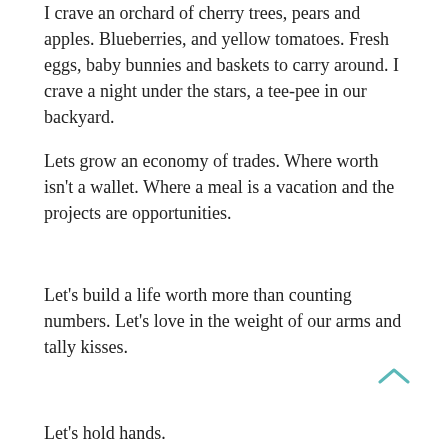I crave an orchard of cherry trees, pears and apples. Blueberries, and yellow tomatoes. Fresh eggs, baby bunnies and baskets to carry around. I crave a night under the stars, a tee-pee in our backyard.
Lets grow an economy of trades. Where worth isn't a wallet. Where a meal is a vacation and the projects are opportunities.
Let's build a life worth more than counting numbers. Let's love in the weight of our arms and tally kisses.
Let's hold hands.